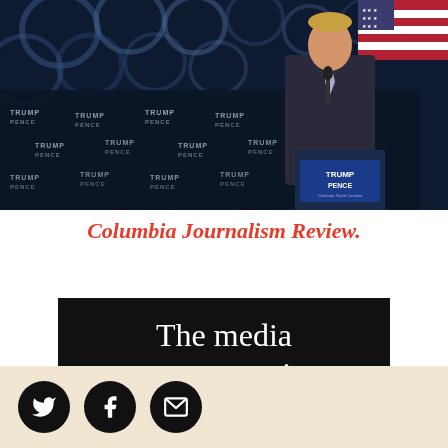[Figure (photo): Donald Trump speaking at a Trump-Pence campaign rally podium, with a backdrop of repeated Trump Pence logos on a dark blue curtain background. The venue is in Charlotte, North Carolina.]
Columbia Journalism Review.
The media encounters its
[Figure (other): Social media sharing buttons: Twitter bird icon, Facebook f icon, and email envelope icon, each in a black circle, on a cream/beige background bar.]